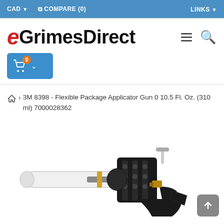CAD  COMPARE (0)  LINKS
[Figure (logo): eGrimesDirect logo with red italic e and black bold text]
[Figure (screenshot): Blue shopping cart button with badge showing 0 items]
3M 8398 - Flexible Package Applicator Gun 0 10.5 Fl. Oz. (310 ml) 7000028362
[Figure (photo): Partial product image of 3M 8398 Flexible Package Applicator Gun, showing the gun mechanism and nozzle at the bottom of the page]